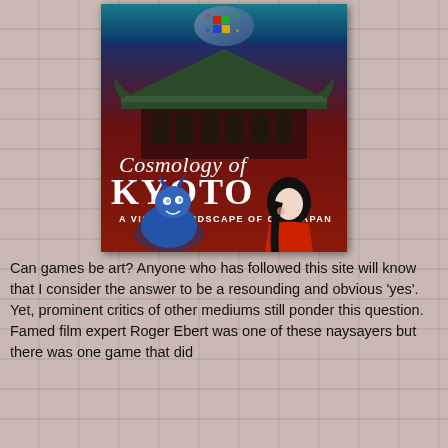[Figure (illustration): Book/game cover for 'Cosmology of Kyoto: A Visual Mindscape of Old Japan'. Features a dark red background with a Japanese temple roof at top, a Windows logo badge at the very top center, large white serif text reading 'Cosmology of KYOTO A VISUAL MINDSCAPE OF OLD JAPAN', a blue demon/oni creature on the lower left and a Japanese woman in red kimono on the lower right.]
Can games be art? Anyone who has followed this site will know that I consider the answer to be a resounding and obvious 'yes'. Yet, prominent critics of other mediums still ponder this question. Famed film expert Roger Ebert was one of these naysayers but there was one game that did